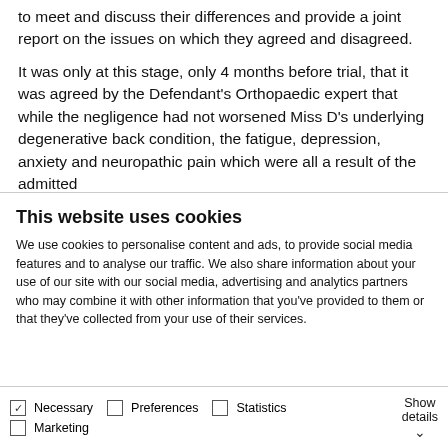to meet and discuss their differences and provide a joint report on the issues on which they agreed and disagreed.
It was only at this stage, only 4 months before trial, that it was agreed by the Defendant's Orthopaedic expert that while the negligence had not worsened Miss D's underlying degenerative back condition, the fatigue, depression, anxiety and neuropathic pain which were all a result of the admitted
This website uses cookies
We use cookies to personalise content and ads, to provide social media features and to analyse our traffic. We also share information about your use of our site with our social media, advertising and analytics partners who may combine it with other information that you've provided to them or that they've collected from your use of their services.
Allow all cookies
Allow selection
Use necessary cookies only
Necessary  Preferences  Statistics  Marketing  Show details